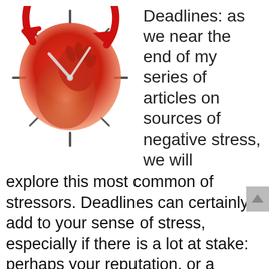[Figure (illustration): A stylized illustration of a human head silhouette in red/orange gradient with a clock face superimposed, clock hands showing approximately 10:10, and a circular red arrow wrapping around the head, suggesting deadline pressure and mental stress. Tick marks radiate outward like clock hour markers.]
Deadlines:  as we near the end of my series of articles on sources of negative stress, we will explore this most common of stressors. Deadlines can certainly add to your sense of stress, especially if there is a lot at stake: perhaps your reputation, or a valued customer, or an important sale which is the difference between making target or not.

Yet, without deadlines, tasks can stretch to